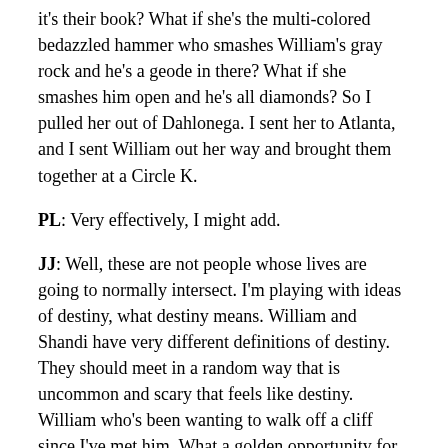it's their book? What if she's the multi-colored bedazzled hammer who smashes William's gray rock and he's a geode in there? What if she smashes him open and he's all diamonds? So I pulled her out of Dahlonega. I sent her to Atlanta, and I sent William out her way and brought them together at a Circle K.
PL: Very effectively, I might add.
JJ: Well, these are not people whose lives are going to normally intersect. I'm playing with ideas of destiny, what destiny means. William and Shandi have very different definitions of destiny. They should meet in a random way that is uncommon and scary that feels like destiny. William who's been wanting to walk off a cliff since I've met him. What a golden opportunity for William, eh?
PL: Absolutely. You did such a great job of portraying William, and I loved the vegetable book that he uses to learn about